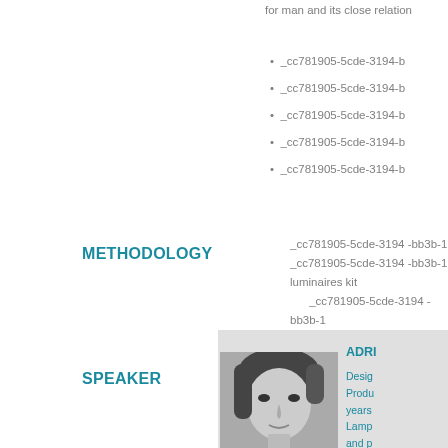for man and its close relation
_cc781905-5cde-3194-b
_cc781905-5cde-3194-b
_cc781905-5cde-3194-b
_cc781905-5cde-3194-b
_cc781905-5cde-3194-b
METHODOLOGY
_cc781905-5cde-3194 -bb3b-1
_cc781905-5cde-3194 -bb3b-1
luminaires kit
_cc781905-5cde-3194 -bb3b-1
SPEAKER
ADRI
Desig
Produ
years
Lamp
and p
consu